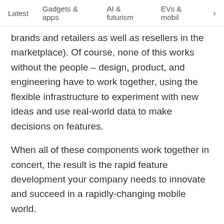Latest   Gadgets & apps   AI & futurism   EVs & mobil  >
brands and retailers as well as resellers in the marketplace). Of course, none of this works without the people – design, product, and engineering have to work together, using the flexible infrastructure to experiment with new ideas and use real-world data to make decisions on features.
When all of these components work together in concert, the result is the rapid feature development your company needs to innovate and succeed in a rapidly-changing mobile world.
Published August 25, 2016 - 3:37 pm UTC
Back to top